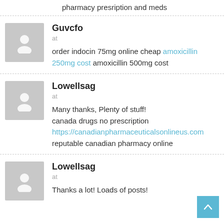pharmacy presription and meds
Guvcfo
at
order indocin 75mg online cheap amoxicillin 250mg cost amoxicillin 500mg cost
Lowellsag
at
Many thanks, Plenty of stuff!
canada drugs no prescription
https://canadianpharmaceuticalsonlineus.com reputable canadian pharmacy online
Lowellsag
at
Thanks a lot! Loads of posts!